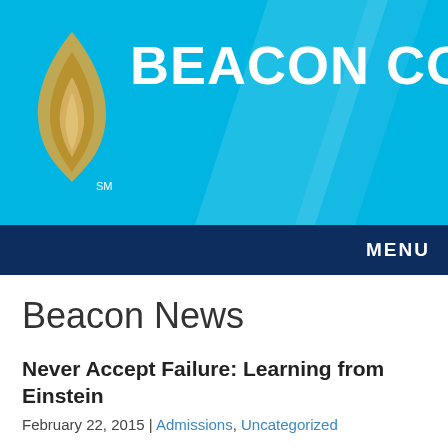[Figure (logo): Beacon College logo with golden flame icon and white BEACON COLLEGE text on cyan/light blue background with diagonal stripe accents]
MENU
Beacon News
Never Accept Failure: Learning from Einstein
February 22, 2015 | Admissions, Uncategorized